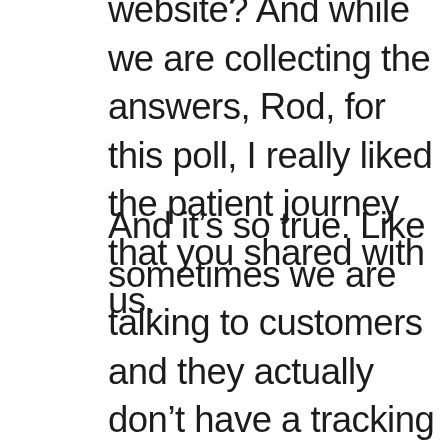website? And while we are collecting the answers, Rod, for this poll, I really liked the patient journey that you shared with us.
And it's so true. Like sometimes we are talking to customers and they actually don't have a tracking system from leads to patients and then from patients to referrals.
But if you ask them how many eye surgeries did you perform last year? They would know that from the heart, but they wouldn't know how many leads did you have or how